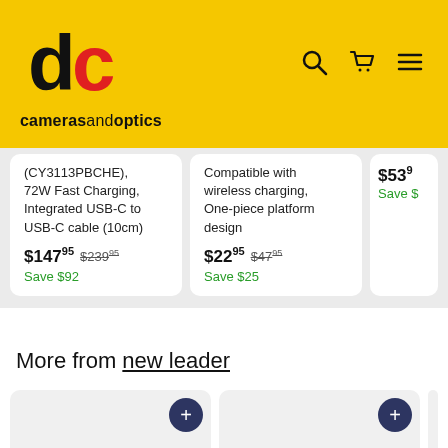[Figure (logo): camerasandoptics logo with 'dc' letters in black and red on yellow background, with search, cart, and menu icons on the right]
(CY3113PBCHE), 72W Fast Charging, Integrated USB-C to USB-C cable (10cm)
$14795  $23995
Save $92
Compatible with wireless charging, One-piece platform design
$2295  $4795
Save $25
$53.9
Save $
More from new leader
[Figure (photo): Laptop and charger product image in a white card with a dark blue plus button]
[Figure (photo): Phone case product image in a white card with a dark blue plus button and a 'Chat with us' bubble overlay]